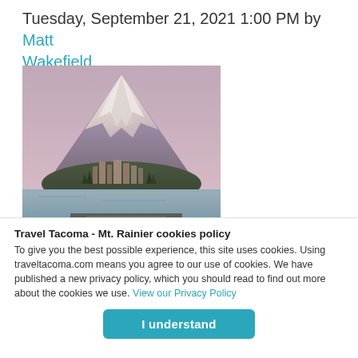Tuesday, September 21, 2021 1:00 PM by Matt Wakefield
[Figure (photo): Photograph of Mount Rainier with snow-capped peak behind a hillside cityscape of Tacoma, waterfront with street lamps and docks in the foreground]
Travel Tacoma - Mt. Rainier cookies policy
To give you the best possible experience, this site uses cookies. Using traveltacoma.com means you agree to our use of cookies. We have published a new privacy policy, which you should read to find out more about the cookies we use. View our Privacy Policy
I understand